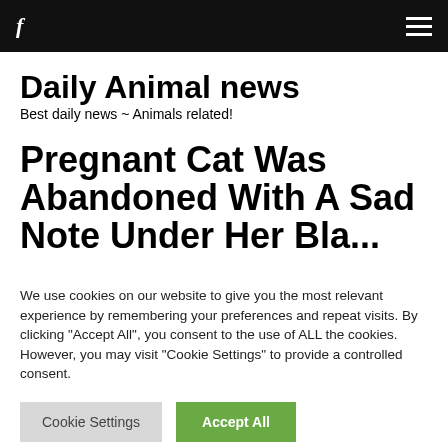f ≡
Daily Animal news
Best daily news ~ Animals related!
Pregnant Cat Was Abandoned With A Sad Note Under Her Bla...
We use cookies on our website to give you the most relevant experience by remembering your preferences and repeat visits. By clicking "Accept All", you consent to the use of ALL the cookies. However, you may visit "Cookie Settings" to provide a controlled consent.
Cookie Settings | Accept All